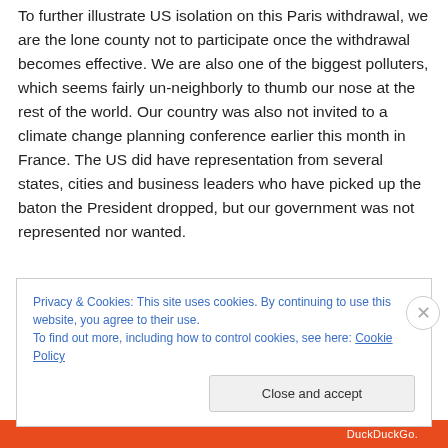To further illustrate US isolation on this Paris withdrawal, we are the lone county not to participate once the withdrawal becomes effective. We are also one of the biggest polluters, which seems fairly un-neighborly to thumb our nose at the rest of the world. Our country was also not invited to a climate change planning conference earlier this month in France. The US did have representation from several states, cities and business leaders who have picked up the baton the President dropped, but our government was not represented nor wanted.
Privacy & Cookies: This site uses cookies. By continuing to use this website, you agree to their use.
To find out more, including how to control cookies, see here: Cookie Policy